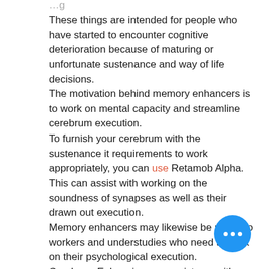…g
These things are intended for people who have started to encounter cognitive deterioration because of maturing or unfortunate sustenance and way of life decisions.
The motivation behind memory enhancers is to work on mental capacity and streamline cerebrum execution.
To furnish your cerebrum with the sustenance it requirements to work appropriately, you can use Retamob Alpha. This can assist with working on the soundness of synapses as well as their drawn out execution.
Memory enhancers may likewise be useful to workers and understudies who need to work on their psychological execution.
Cerebrum Enhancing can assist you with working on your memory, consideration and fixation temporarily.
Nootropic enhancements can assist you